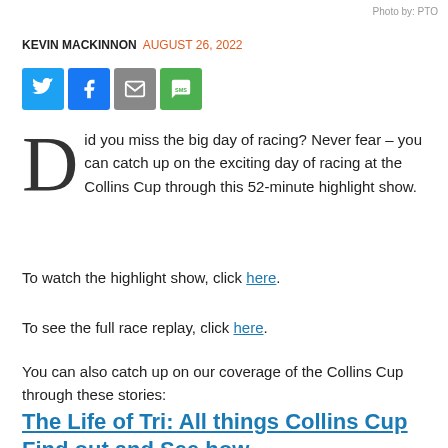Photo by: PTO
KEVIN MACKINNON  AUGUST 26, 2022
[Figure (infographic): Row of four social media share buttons: Twitter (blue), Facebook (blue), Email (grey), SMS (green)]
Did you miss the big day of racing? Never fear – you can catch up on the exciting day of racing at the Collins Cup through this 52-minute highlight show.
To watch the highlight show, click here.
To see the full race replay, click here.
You can also catch up on our coverage of the Collins Cup through these stories:
The Life of Tri: All things Collins Cup
Find out and See how...